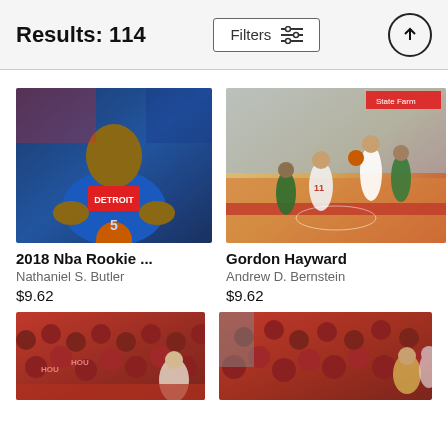Results: 114
[Figure (photo): Detroit Pistons player in blue jersey posing with basketball for 2018 NBA Rookie photo]
2018 Nba Rookie ...
Nathaniel S. Butler
$9.62
[Figure (photo): Gordon Hayward action shot during NBA game at arena with crowd in background]
Gordon Hayward
Andrew D. Bernstein
$9.62
[Figure (photo): NBA game crowd scene with fans in red]
[Figure (photo): NBA game sideline scene with people in red jackets]